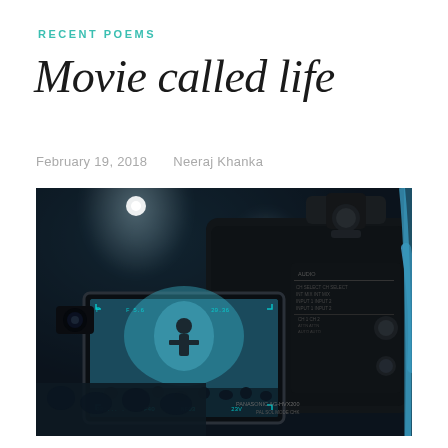RECENT POEMS
Movie called life
February 19, 2018    Neeraj Khanka
[Figure (photo): Close-up photograph of a professional video camera with a viewfinder screen showing a person on stage under teal/blue stage lights, with an out-of-focus audience in the background]